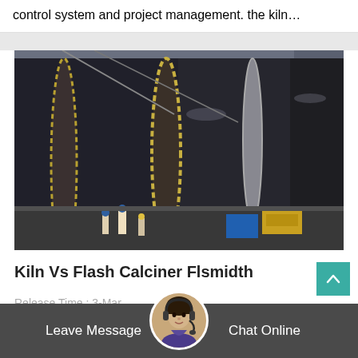control system and project management. the kiln…
[Figure (photo): Large industrial rotary kiln with drive gear ring visible, inside a factory/industrial facility. Workers visible in background.]
Kiln Vs Flash Calciner Flsmidth
Release Time : 3-Mar
Tk: both the rotary kiln approach and the
Leave Message
Chat Online